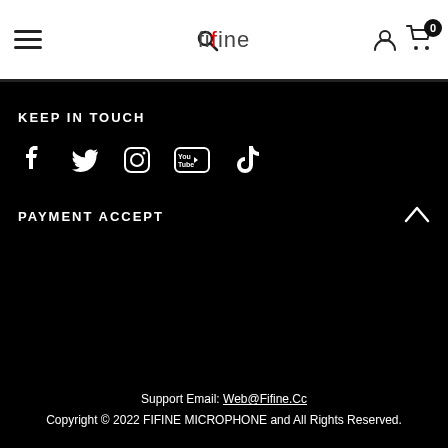fifine — navigation header with hamburger menu, search, user icon, and cart (0)
KEEP IN TOUCH
[Figure (other): Social media icons: Facebook, Twitter, Instagram, YouTube, TikTok]
PAYMENT ACCEPT
Support Email: Web@Fifine.Cc
Copyright © 2022 FIFINE MICROPHONE and All Rights Reserved.